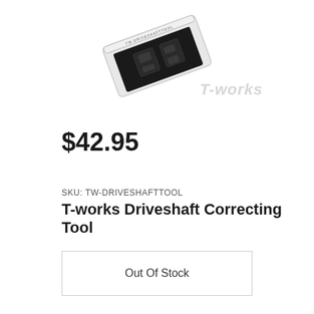[Figure (photo): Product photo of T-works Driveshaft Correcting Tool in a small black-foam-lined white plastic case, photographed at an angle. T-works logo watermark visible in lower right area of image.]
$42.95
SKU: TW-DRIVESHAFTTOOL
T-works Driveshaft Correcting Tool
Out Of Stock